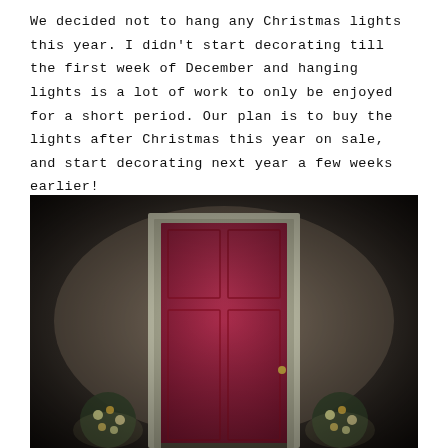We decided not to hang any Christmas lights this year. I didn't start decorating till the first week of December and hanging lights is a lot of work to only be enjoyed for a short period. Our plan is to buy the lights after Christmas this year on sale, and start decorating next year a few weeks earlier!
[Figure (photo): Photo of a house front door painted dark red/maroon with white trim molding, flanked by two illuminated holiday decorations on either side. The walls appear to be a dark textured stucco, with a vignette effect darkening the corners.]